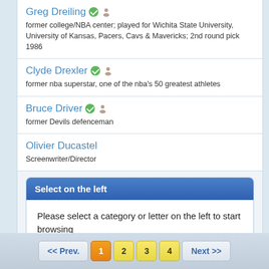Greg Dreiling — former college/NBA center; played for Wichita State University, University of Kansas, Pacers, Cavs & Mavericks; 2nd round pick 1986
Clyde Drexler — former nba superstar, one of the nba's 50 greatest athletes
Bruce Driver — former Devils defenceman
Olivier Ducastel — Screenwriter/Director
Select on the left
Please select a category or letter on the left to start browsing